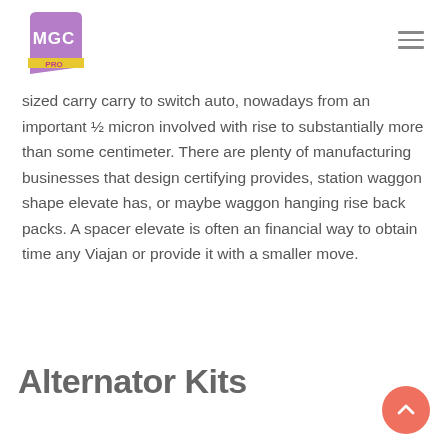MGC PRO logo and navigation
sized carry carry to switch auto, nowadays from an important ½ micron involved with rise to substantially more than some centimeter. There are plenty of manufacturing businesses that design certifying provides, station waggon shape elevate has, or maybe waggon hanging rise back packs. A spacer elevate is often an financial way to obtain time any Viajan or provide it with a smaller move.
Alternator Kits